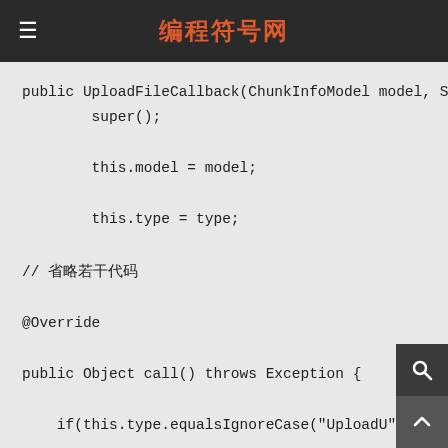编程符号网
public UploadFileCallback(ChunkInfoModel model, Stri
        super();

        this.model = model;

        this.type = type;

        this.location = localtion;

}
// 省略若干代码
@Override
public Object call() throws Exception {
    if(this.type.equalsIgnoreCase("UploadU"){